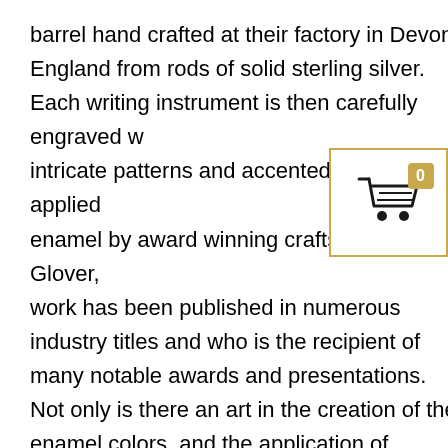barrel hand crafted at their factory in Devon, England from rods of solid sterling silver. Each writing instrument is then carefully engraved with intricate patterns and accented with a hand applied enamel by award winning craftsman Robert Glover, work has been published in numerous industry titles and who is the recipient of many notable awards and presentations. Not only is there an art in the creation of the enamel colors, and the application of multiple layers to the sterling silver pens (Robert often uses a trimmed natural goose quill to apply the various colors of enamel) there is a significant craft to the careful hand polishing of the finished enamel piece to render every enamel surface precisely the correct depth above the guilloche engraving to allow for the best reflection of transmitted light through the silver...
[Figure (other): Shopping cart icon with a badge showing 0 items, inside a gold-bordered white box overlay in the top-right area]